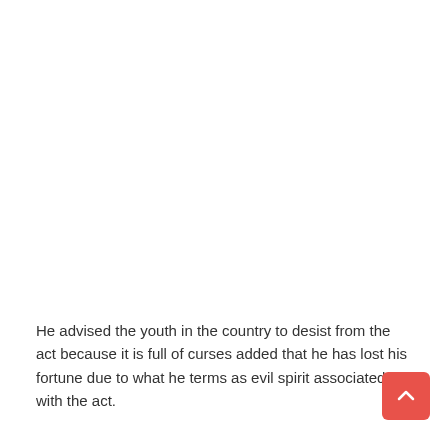He advised the youth in the country to desist from the act because it is full of curses added that he has lost his fortune due to what he terms as evil spirit associated with the act.